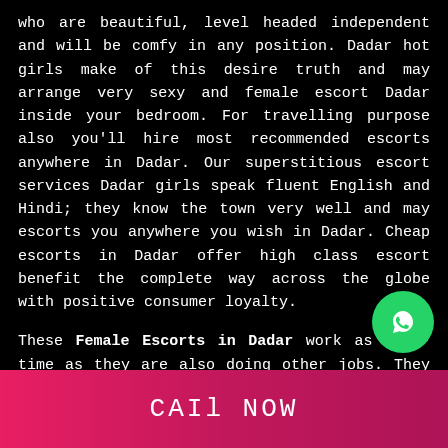who are beautiful, level headed independent and will be comfy in any position. Dadar hot girls make of this desire truth and may arrange very sexy and female escort Dadar inside your bedroom. For travelling purpose also you'll hire most recommended escorts anywhere in Dadar. Our superstitious escort services Dadar girls speak fluent English and Hindi; they know the town very well and may escorts you anywhere you wish in Dadar. Cheap escorts in Dadar offer high class escort benefit the complete way across the globe with positive consumer loyalty.
These Female Escorts in Dadar work as part-time as they are also doing other jobs. They are always working on time as they have to complete daily targets. These girls are college girls, housewives, aunties, or teenagers who are working hard to live their lives in a satisfying
[Figure (other): WhatsApp contact button - green circle with WhatsApp phone/chat icon]
CALL NOW